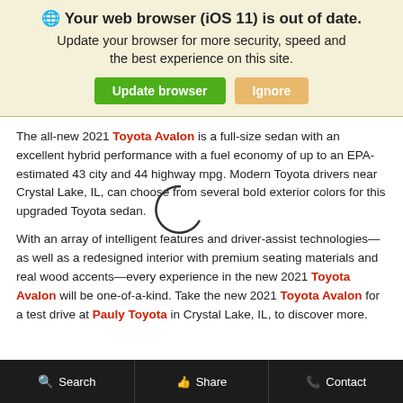🌐 Your web browser (iOS 11) is out of date. Update your browser for more security, speed and the best experience on this site.
The all-new 2021 Toyota Avalon is a full-size sedan with an excellent hybrid performance with a fuel economy of up to an EPA-estimated 43 city and 44 highway mpg. Modern Toyota drivers near Crystal Lake, IL, can choose from several bold exterior colors for this upgraded Toyota sedan.
[Figure (other): Loading spinner (partial circle arc indicating page loading)]
With an array of intelligent features and driver-assist technologies—as well as a redesigned interior with premium seating materials and real wood accents—every experience in the new 2021 Toyota Avalon will be one-of-a-kind. Take the new 2021 Toyota Avalon for a test drive at Pauly Toyota in Crystal Lake, IL, to discover more.
Search   Share   Contact